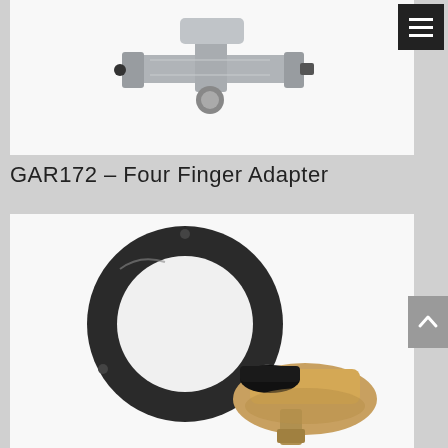[Figure (photo): Photo of a Four Finger Adapter mechanical part (GAR172), showing a metal bracket/adapter component with black fittings against a white background.]
GAR172 – Four Finger Adapter
[Figure (photo): Photo of a circular black ring adapter part alongside a bronze/gold colored mechanical fitting assembly, shown against a white background.]